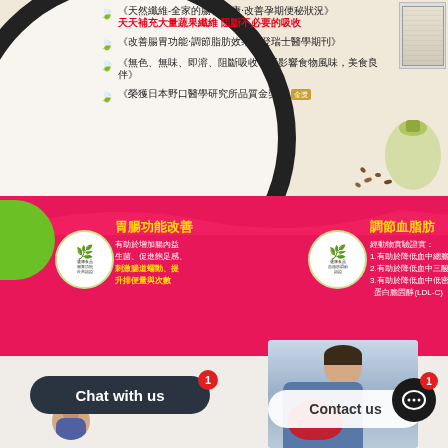《天然纖維-全家的腸胃健康‧改善孕期便秘狀況》天天補充大量蔬果纖維 阻斷不必要的吸收
《改善腸胃功能‧調節脂肪效果榮登瑞士醫學期刊》
《無色、無味、即溶、阻斷吸收，不影響食物風味，美食良伴》
《榮獲日本野口醫學研究所品質金獎》
[Figure (photo): Product label image top right]
[Figure (photo): Large white bowl with magnifier circle and spoon, wood background with oil/seeds jar]
胃腸功能改善 有助於增加腸內益生菌、促進飽足感、刺激腸道蠕動、提升排便量與次數
[Figure (logo): Health food certification badge - 胃腸功能改善]
調節血脂肪 經動物實驗證實：1.有助於降低血中總膽固醇 2.有助於降低血中三酸甘油酯 3.有助於降低血中低密度脂蛋白膽固醇(LDL-C)
[Figure (logo): Health food certification badge - 調節血脂肪]
[Figure (photo): Woman in blue shirt smiling, holding red heart pillow]
Chat with us
Contact us